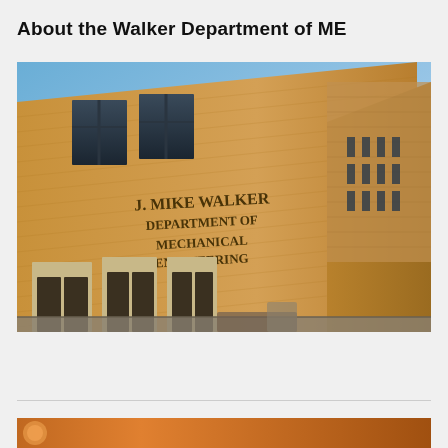About the Walker Department of ME
[Figure (photo): Exterior photograph of the J. Mike Walker Department of Mechanical Engineering building at UT Austin. A tan/beige brick building is shown from a low angle perspective with the carved text 'J. MIKE WALKER DEPARTMENT OF MECHANICAL ENGINEERING' visible on the facade. Blue sky with wispy clouds visible on the right side, along with other campus buildings in the background.]
[Figure (photo): Partial view of another photo at the bottom of the page, showing a warm-toned image (likely another campus or department related photo).]